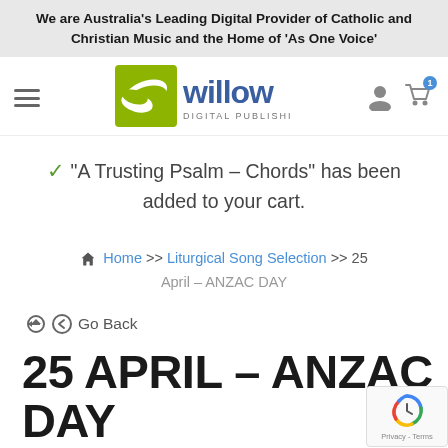We are Australia's Leading Digital Provider of Catholic and Christian Music and the Home of 'As One Voice'
[Figure (logo): Willow Digital Publishing logo - green square with white leaf/oval design and 'willow DIGITAL PUBLISHING' text]
“A Trusting Psalm – Chords” has been added to your cart.
Home >> Liturgical Song Selection >> 25 April – ANZAC DAY
Go Back
25 APRIL – ANZAC DAY